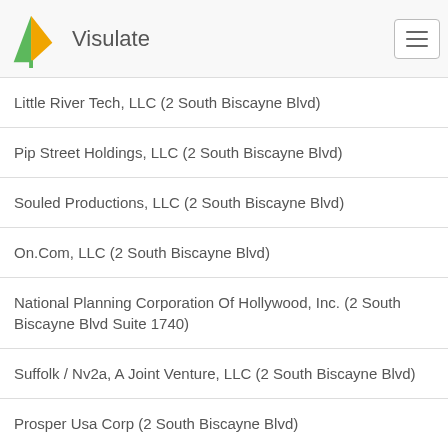Visulate
Little River Tech, LLC (2 South Biscayne Blvd)
Pip Street Holdings, LLC (2 South Biscayne Blvd)
Souled Productions, LLC (2 South Biscayne Blvd)
On.Com, LLC (2 South Biscayne Blvd)
National Planning Corporation Of Hollywood, Inc. (2 South Biscayne Blvd Suite 1740)
Suffolk / Nv2a, A Joint Venture, LLC (2 South Biscayne Blvd)
Prosper Usa Corp (2 South Biscayne Blvd)
Mgm Brazil A Holdings LLC (2 S Biscayne Blvd Ste 2610)
Mgm Brazil B Holdings LLC (2 S Biscayne Blvd Ste 2610)
Outworking LLC (2 South Biscayne Blvd)